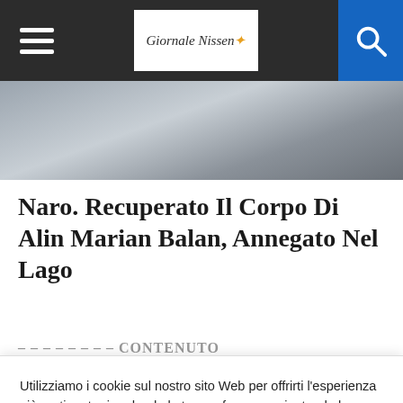Giornale Nissen — navigation bar with hamburger menu and search icon
[Figure (photo): Grey-toned background photo partially visible behind navigation bar]
Naro. Recuperato Il Corpo Di Alin Marian Balan, Annegato Nel Lago
Utilizziamo i cookie sul nostro sito Web per offrirti l'esperienza più pertinente ricordando le tue preferenze e ripetendo le visite. Cliccando su "Accetta tutto", acconsenti all'uso di TUTTI i cookie. Tuttavia, puoi visitare "Impostazioni cookie" per fornire un consenso controllato.
Impostazioni | Accetta tutto